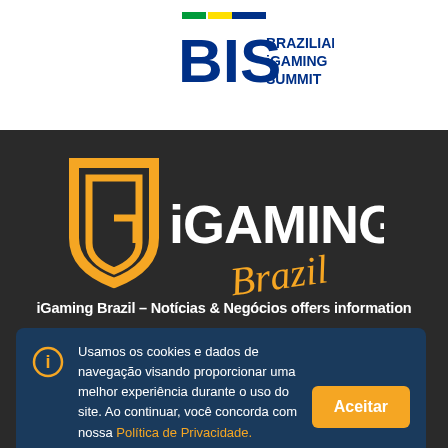[Figure (logo): BIS Brazilian iGaming Summit logo with green, yellow, blue horizontal bars above the text]
[Figure (logo): iGaming Brazil logo with orange shield/G icon and white iGAMING text with orange script Brazil]
iGaming Brazil – Notícias & Negócios offers information
Usamos os cookies e dados de navegação visando proporcionar uma melhor experiência durante o uso do site. Ao continuar, você concorda com nossa Política de Privacidade.
Aceitar